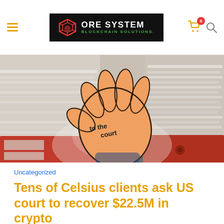ORE SYSTEM BLOCKCHAIN SOLUTIONS.
[Figure (illustration): Illustration of a cartoon hand with 'to the court' written on the palm, surrounded by stacks of documents and red binders, suggesting a legal/court filing context.]
Uncategorized
Tens of Celsius clients ask US court to recover $22.5M in crypto
The bankrupt cryptocurrency lender Celsius is facing a court hearing from clients that include...